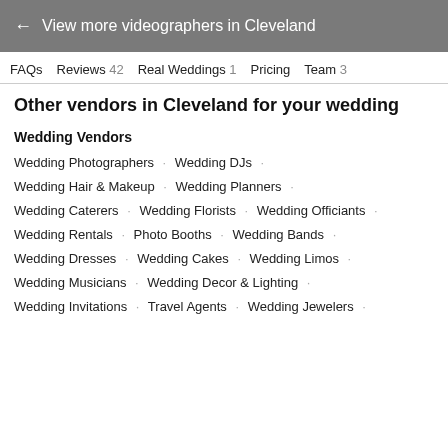← View more videographers in Cleveland
FAQs  Reviews 42  Real Weddings 1  Pricing  Team 3
Other vendors in Cleveland for your wedding
Wedding Vendors
Wedding Photographers · Wedding DJs ·
Wedding Hair & Makeup · Wedding Planners ·
Wedding Caterers · Wedding Florists · Wedding Officiants ·
Wedding Rentals · Photo Booths · Wedding Bands ·
Wedding Dresses · Wedding Cakes · Wedding Limos ·
Wedding Musicians · Wedding Decor & Lighting ·
Wedding Invitations · Travel Agents · Wedding Jewelers ·